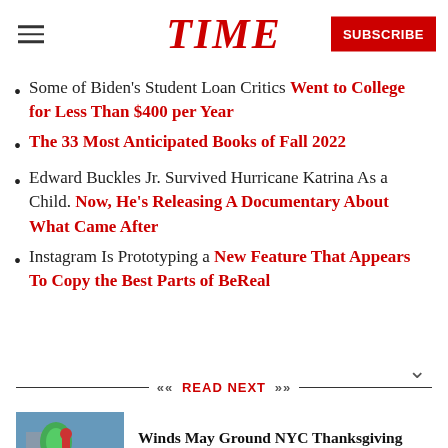TIME | SUBSCRIBE
Some of Biden's Student Loan Critics Went to College for Less Than $400 per Year
The 33 Most Anticipated Books of Fall 2022
Edward Buckles Jr. Survived Hurricane Katrina As a Child. Now, He's Releasing A Documentary About What Came After
Instagram Is Prototyping a New Feature That Appears To Copy the Best Parts of BeReal
READ NEXT
Winds May Ground NYC Thanksgiving Parade Balloons